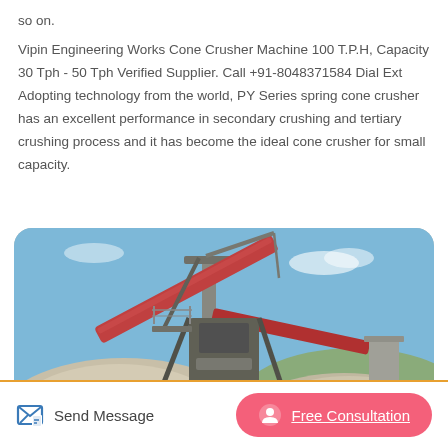so on.
Vipin Engineering Works Cone Crusher Machine 100 T.P.H, Capacity 30 Tph - 50 Tph Verified Supplier. Call +91-8048371584 Dial Ext Adopting technology from the world, PY Series spring cone crusher has an excellent performance in secondary crushing and tertiary crushing process and it has become the ideal cone crusher for small capacity.
[Figure (photo): Photograph of a cone crusher / mining plant installation showing conveyor belts, machinery, and large piles of crushed stone/gravel outdoors under a blue sky. An upload/share icon button (pink rounded square with white upward arrow) is overlaid in the top-right corner.]
Send Message   Free Consultation